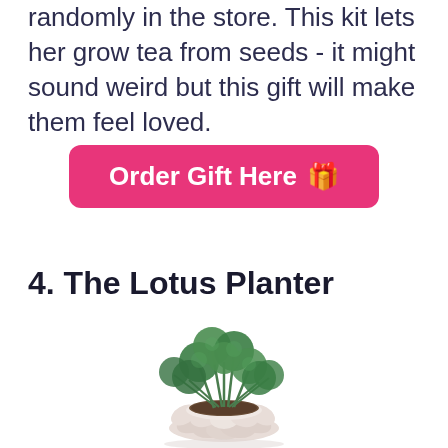randomly in the store. This kit lets her grow tea from seeds - it might sound weird but this gift will make them feel loved.
Order Gift Here 🎁
4. The Lotus Planter
[Figure (photo): A small green leafy plant (Pilea peperomioides / Chinese money plant) growing in a white ceramic lotus-shaped planter, on a white background.]